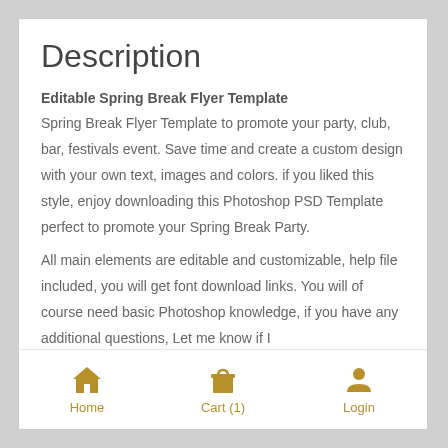Description
Editable Spring Break Flyer Template
Spring Break Flyer Template to promote your party, club, bar, festivals event. Save time and create a custom design with your own text, images and colors. if you liked this style, enjoy downloading this Photoshop PSD Template perfect to promote your Spring Break Party.
All main elements are editable and customizable, help file included, you will get font download links. You will of course need basic Photoshop knowledge, if you have any additional questions, Let me know if I
Home   Cart (1)   Login